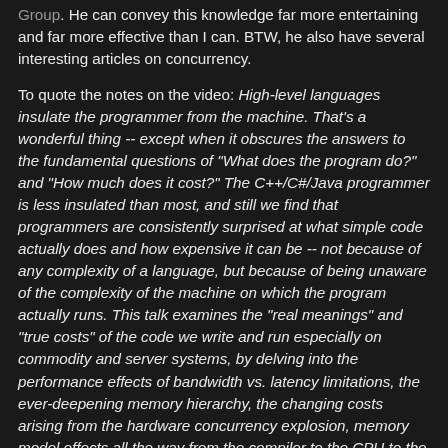Group. He can convey this knowledge far more entertaining and far more effective than I can. BTW, he also have several interesting articles on concurrency.
To quote the notes on the video: High-level languages insulate the programmer from the machine. That's a wonderful thing -- except when it obscures the answers to the fundamental questions of "What does the program do?" and "How much does it cost?" The C++/C#/Java programmer is less insulated than most, and still we find that programmers are consistently surprised at what simple code actually does and how expensive it can be -- not because of any complexity of a language, but because of being unaware of the complexity of the machine on which the program actually runs. This talk examines the "real meanings" and "true costs" of the code we write and run especially on commodity and server systems, by delving into the performance effects of bandwidth vs. latency limitations, the ever-deepening memory hierarchy, the changing costs arising from the hardware concurrency explosion, memory model effects all the way from the compiler to the CPU to the chipset to the cache, and more -- and what you can do about